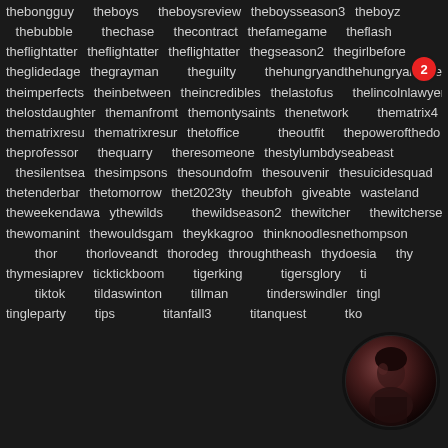thebongguy theboys theboysreview theboysseason3 theboyz thebubble thechase thecontract thefamegame theflash theflightattendant theflightattendant theflightattendant thegseason2 thegirlbefore theglidedage thegrayman theguilty thehungryandeliny thehungryandthe theimperfects theinbetween theincredibles thelastofus thelincolnlawyer thelostdaughter themanfromtoronto themonysaints thenetwork thematrix4 thematrixresurrections thematrixresurrections theoffice theoutfit thepowerofthedog theprofessor thequarry theresomeone thestylumboys theseabeast thesilentsea thesimpsons thesoundofmusic thesouvenir thesuicidesquad thetenderbar thetomorrowwar2023 tytheutboh thegiveable thewasteland theweekendaway thewilds thewildseason2 thewitcher thewitcherseason thewomaninthe thewoodsgarth theykkagroo thinknoodles thompson thor thorloveandthunder throughtheashes thyoesia thy thymesiaprev ticktickboom tigerking tigersglory ti tiktok tildaswinton tillman tinderswindler ti tingleparty tips titanfall3 titanquest tko
[Figure (photo): Circular avatar photo of a person in low-light setting with a red notification badge showing '2']